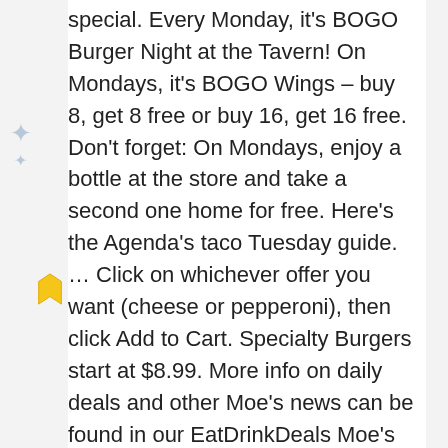special. Every Monday, it's BOGO Burger Night at the Tavern! On Mondays, it's BOGO Wings – buy 8, get 8 free or buy 16, get 16 free. Don't forget: On Mondays, enjoy a bottle at the store and take a second one home for free. Here's the Agenda's taco Tuesday guide. ... Click on whichever offer you want (cheese or pepperoni), then click Add to Cart. Specialty Burgers start at $8.99. More info on daily deals and other Moe's news can be found in our EatDrinkDeals Moe's article. Red Lobster offers Endless Shrimp Mondays until 6 p.m. with your choice of three shrimp meals. Draganetti's Ristorante. Beverage, pie or dessert not included. Check here for the latest Bismarck restaurant specials, dining deals, happy hour specials, fun and inexpensive food events, coupons, and more. LLoyd's Restaurant & Lounge, a Midwestern style bar on Dekalb Avenue in Inman Park, offers low-key, throwback vibes, blue plate specials, and seriously old school beers. Price and availability may vary by